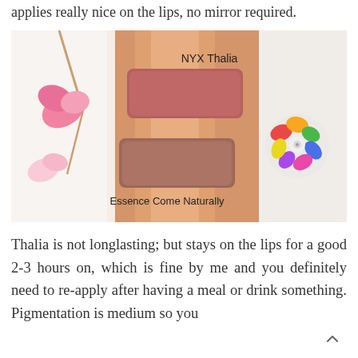applies really nice on the lips, no mirror required.
[Figure (photo): A close-up photo of a person's wrist/arm showing two lipstick swatches side by side. The upper swatch is labeled 'NYX Thalia' (a mauve-pink shade) and the lower swatch is labeled 'Essence Come Naturally' (a dusty rose/nude shade). The background shows pink flowers and a floral decorative element.]
Thalia is not longlasting; but stays on the lips for a good 2-3 hours on, which is fine by me and you definitely need to re-apply after having a meal or drink something. Pigmentation is medium so you